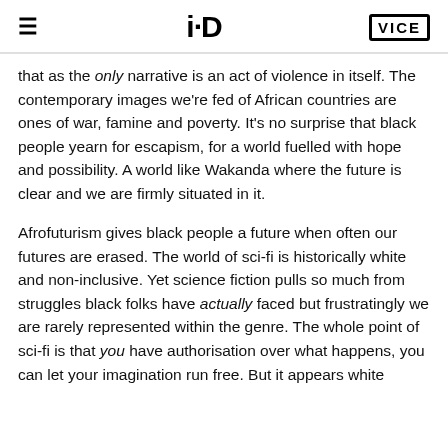i-D   VICE
that as the only narrative is an act of violence in itself. The contemporary images we're fed of African countries are ones of war, famine and poverty. It's no surprise that black people yearn for escapism, for a world fuelled with hope and possibility. A world like Wakanda where the future is clear and we are firmly situated in it.
Afrofuturism gives black people a future when often our futures are erased. The world of sci-fi is historically white and non-inclusive. Yet science fiction pulls so much from struggles black folks have actually faced but frustratingly we are rarely represented within the genre. The whole point of sci-fi is that you have authorisation over what happens, you can let your imagination run free. But it appears white